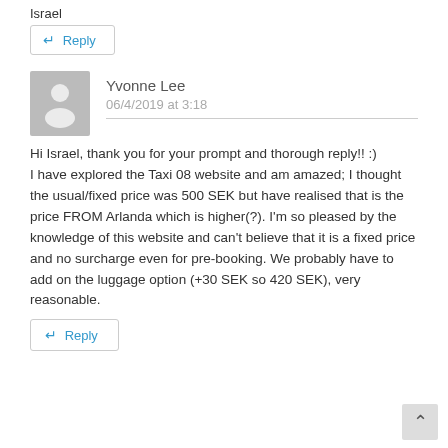Israel
↵ Reply
Yvonne Lee
06/4/2019 at 3:18
Hi Israel, thank you for your prompt and thorough reply!! :)
I have explored the Taxi 08 website and am amazed; I thought the usual/fixed price was 500 SEK but have realised that is the price FROM Arlanda which is higher(?). I'm so pleased by the knowledge of this website and can't believe that it is a fixed price and no surcharge even for pre-booking. We probably have to add on the luggage option (+30 SEK so 420 SEK), very reasonable.
↵ Reply